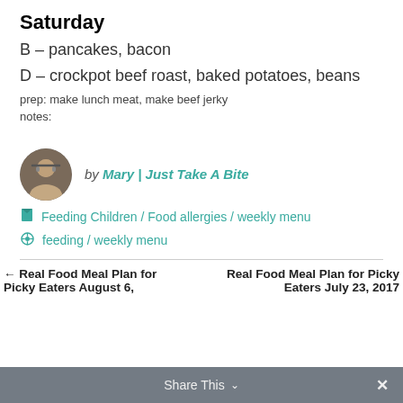Saturday
B – pancakes, bacon
D – crockpot beef roast, baked potatoes, beans
prep: make lunch meat, make beef jerky
notes:
by Mary | Just Take A Bite
Feeding Children / Food allergies / weekly menu
feeding / weekly menu
← Real Food Meal Plan for Picky Eaters August 6,
Real Food Meal Plan for Picky Eaters July 23, 2017
Share This